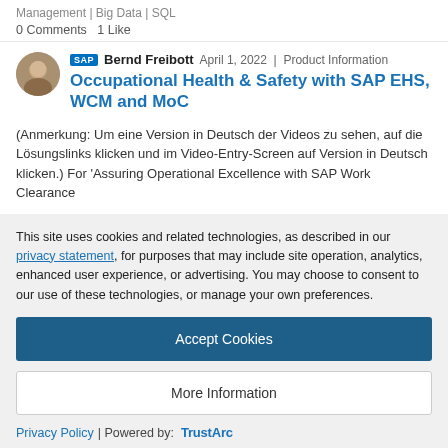Management | Big Data | SQL
0 Comments  1 Like
SAP  Bernd Freibott  April 1, 2022 | Product Information
Occupational Health & Safety with SAP EHS, WCM and MoC
(Anmerkung: Um eine Version in Deutsch der Videos zu sehen, auf die Lösungslinks klicken und im Video-Entry-Screen auf Version in Deutsch klicken.) For 'Assuring Operational Excellence with SAP Work Clearance
This site uses cookies and related technologies, as described in our privacy statement, for purposes that may include site operation, analytics, enhanced user experience, or advertising. You may choose to consent to our use of these technologies, or manage your own preferences.
Accept Cookies
More Information
Privacy Policy | Powered by: TrustArc
First, I must apologize for classifying this case as "Big